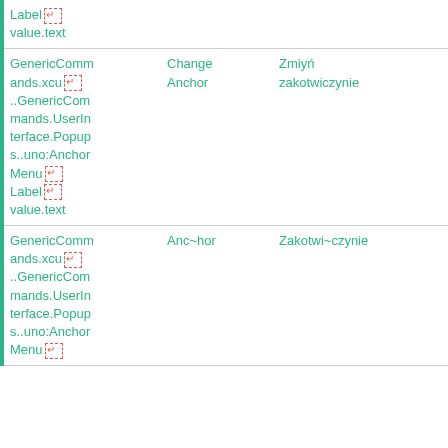| Key/Path | English | Translation | Actions |
| --- | --- | --- | --- |
| Label↵
value.text |  |  |  |
| GenericCommands.xcu↵
..GenericCommands.UserInterface.Popups..uno:AnchorMenu↵
Label↵
value.text | Change Anchor | Zmiyń zakotwiczynie | copy reset |
| GenericCommands.xcu↵
..GenericCommands.UserInterface.Popups..uno:AnchorMenu↵ | Anc~hor | Zakotwi~czynie | copy reset |